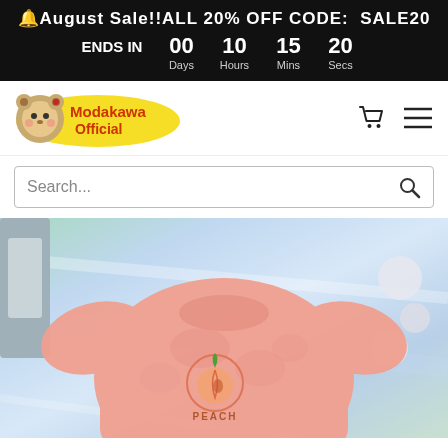🔔August Sale!!ALL 20% OFF CODE: SALE20 ENDS IN 00 Days 10 Hours 15 Mins 20 Secs
[Figure (logo): Modakawa Official bear logo with yellow text bubble on white background]
Search...
[Figure (photo): Pink tie-dye crop t-shirt with peach fruit graphic and PEACH text, laid flat on holographic iridescent silver background]